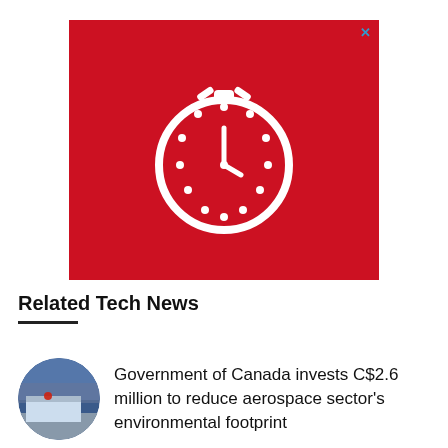[Figure (illustration): Red advertisement banner with a white stopwatch/timer icon in the center and a small X close button in the top right corner]
Related Tech News
[Figure (photo): Circular thumbnail photo of a building/aircraft hangar at dusk with reddish sky]
Government of Canada invests C$2.6 million to reduce aerospace sector's environmental footprint